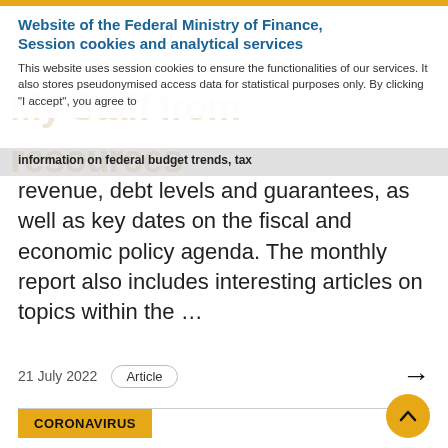Website of the Federal Ministry of Finance, Session cookies and analytical services
This website uses session cookies to ensure the functionalities of our services. It also stores pseudonymised access data for statistical purposes only. By clicking “I accept”, you agree to
information on federal budget trends, tax revenue, debt levels and guarantees, as well as key dates on the fiscal and economic policy agenda. The monthly report also includes interesting articles on topics within the …
21 July 2022
Article
CORONAVIRUS